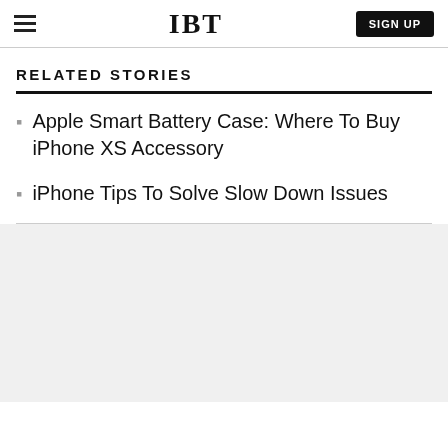IBT | SIGN UP
RELATED STORIES
Apple Smart Battery Case: Where To Buy iPhone XS Accessory
iPhone Tips To Solve Slow Down Issues